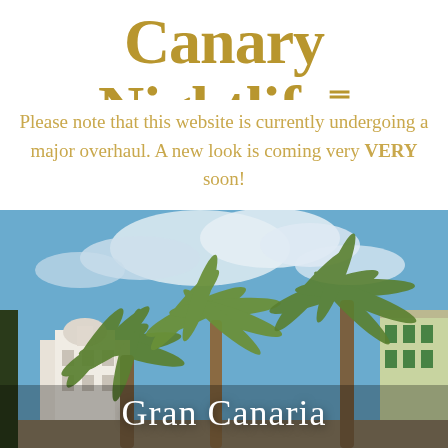Canary Nightlife
Please note that this website is currently undergoing a major overhaul. A new look is coming very VERY soon!
[Figure (photo): Photograph of Gran Canaria street scene with tall palm trees against a blue sky with white clouds, a white domed building and colourful buildings in the background.]
Gran Canaria